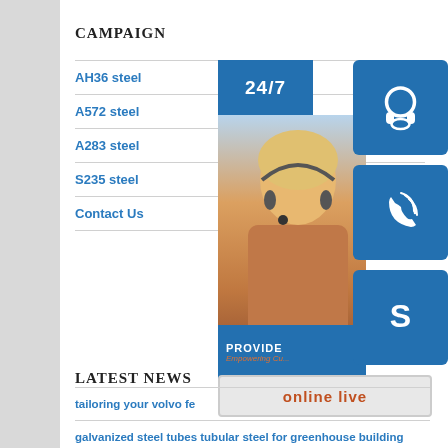CAMPAIGN
AH36 steel
A572 steel
A283 steel
S235 steel
Contact Us
[Figure (photo): Customer service agent with headset, overlaid with 24/7 badge, headset icon, phone icon, Skype icon, and online live button. Text reads PROVIDE / Empowering Cu...]
LATEST NEWS
tailoring your volvo fe
galvanized steel tubes tubular steel for greenhouse building
three layer polyethylene precoated bevel ended line pipe
s235 composition